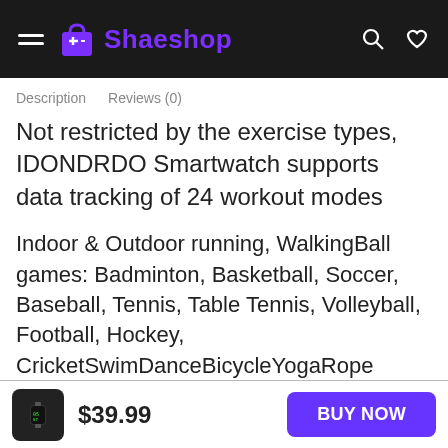Shaeshop
Description   Reviews (0)
Not restricted by the exercise types, IDONDRDO Smartwatch supports data tracking of 24 workout modes
Indoor & Outdoor running, WalkingBall games: Badminton, Basketball, Soccer, Baseball, Tennis, Table Tennis, Volleyball, Football, Hockey, CricketSwimDanceBicycleYogaRope SkippingMountaineeringSpinning CyclingBoatingGymnasticsSit UpsJumping
$39.99
BUY NOW